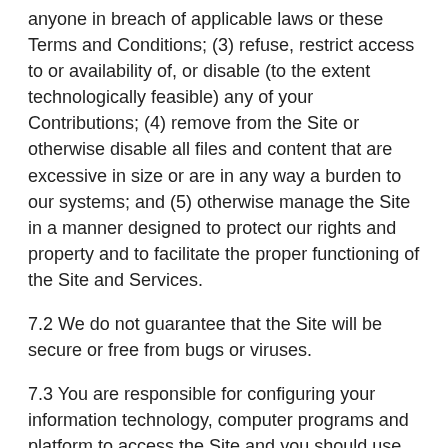anyone in breach of applicable laws or these Terms and Conditions; (3) refuse, restrict access to or availability of, or disable (to the extent technologically feasible) any of your Contributions; (4) remove from the Site or otherwise disable all files and content that are excessive in size or are in any way a burden to our systems; and (5) otherwise manage the Site in a manner designed to protect our rights and property and to facilitate the proper functioning of the Site and Services.
7.2 We do not guarantee that the Site will be secure or free from bugs or viruses.
7.3 You are responsible for configuring your information technology, computer programs and platform to access the Site and you should use your own virus protection software.
8. Modifications to and availability of the Site